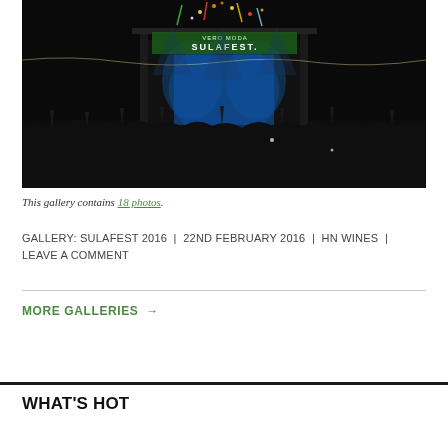[Figure (photo): Night concert festival photo showing a large crowd at SulaFest with a stage lit in blue lights displaying 'VERO MODA SULAFEST' signage with fireworks/confetti above]
This gallery contains 18 photos.
GALLERY: SULAFEST 2016 | 22ND FEBRUARY 2016 | HN WINES | LEAVE A COMMENT
MORE GALLERIES →
WHAT'S HOT